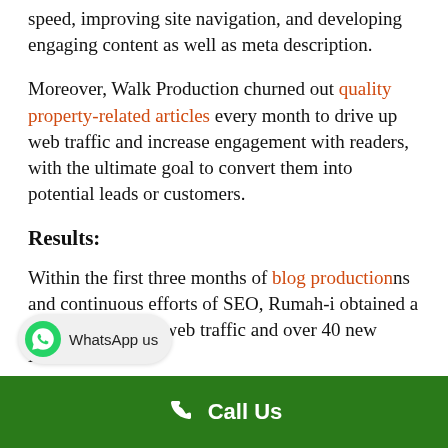speed, improving site navigation, and developing engaging content as well as meta description.
Moreover, Walk Production churned out quality property-related articles every month to drive up web traffic and increase engagement with readers, with the ultimate goal to convert them into potential leads or customers.
Results:
Within the first three months of blog productions and continuous efforts of SEO, Rumah-i obtained a 100% increase in web traffic and over 40 new leads.
This performance is incredibly impressive, considering the market's high competitiveness.
Call Us